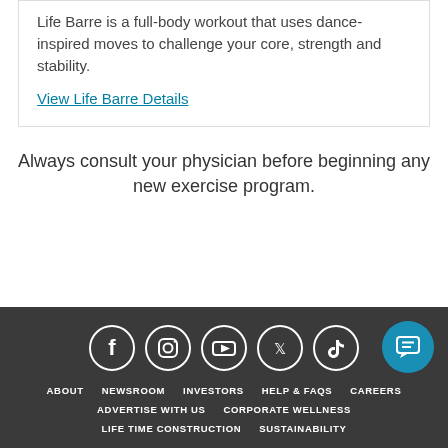Life Barre is a full-body workout that uses dance-inspired moves to challenge your core, strength and stability.
View Life Barre Details
Always consult your physician before beginning any new exercise program.
[Figure (other): Social media icons: Facebook, Instagram, YouTube, Twitter, TikTok in white circles on dark background, plus a teal chat button]
ABOUT  NEWSROOM  INVESTORS  HELP & FAQS  CAREERS  ADVERTISE WITH US  CORPORATE WELLNESS  LIFE TIME CONSTRUCTION  SUSTAINABILITY